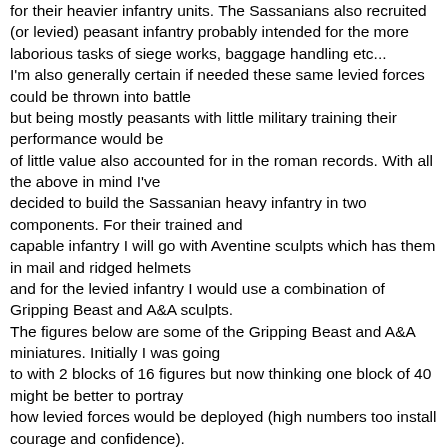for their heavier infantry units. The Sassanians also recruited (or levied) peasant infantry probably intended for the more laborious tasks of siege works, baggage handling etc... I'm also generally certain if needed these same levied forces could be thrown into battle but being mostly peasants with little military training their performance would be of little value also accounted for in the roman records. With all the above in mind I've decided to build the Sassanian heavy infantry in two components. For their trained and capable infantry I will go with Aventine sculpts which has them in mail and ridged helmets and for the levied infantry I would use a combination of Gripping Beast and A&A sculpts. The figures below are some of the Gripping Beast and A&A miniatures. Initially I was going to with 2 blocks of 16 figures but now thinking one block of 40 might be better to portray how levied forces would be deployed (high numbers too install courage and confidence). Hopefully soon i will post additional pics along with pics of the Aventine miniatures.